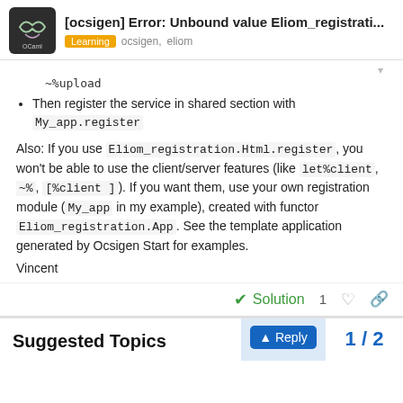[ocsigen] Error: Unbound value Eliom_registrati... — Learning  ocsigen, eliom
~%upload
Then register the service in shared section with My_app.register
Also: If you use Eliom_registration.Html.register, you won't be able to use the client/server features (like let%client, ~%, [%client ]). If you want them, use your own registration module (My_app in my example), created with functor Eliom_registration.App. See the template application generated by Ocsigen Start for examples.
Vincent
Solution  1
Suggested Topics
1 / 2